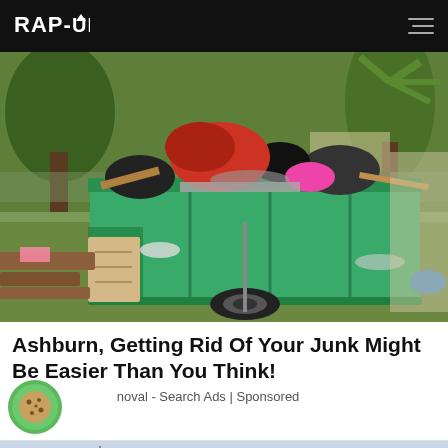RAP-UP
[Figure (photo): Overflowing green dumpster filled with junk and debris on a grassy area with palm trees in the background]
Ashburn, Getting Rid Of Your Junk Might Be Easier Than You Think!
Junk Removal - Search Ads | Sponsored
[Figure (photo): Partial view of a second advertisement image showing a waterfront or marina scene]